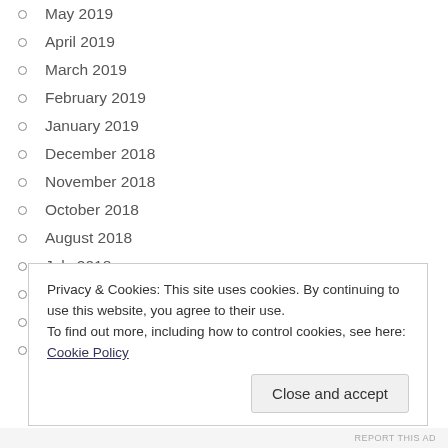May 2019
April 2019
March 2019
February 2019
January 2019
December 2018
November 2018
October 2018
August 2018
July 2018
June 2018
May 2018
April 2018
Privacy & Cookies: This site uses cookies. By continuing to use this website, you agree to their use.
To find out more, including how to control cookies, see here: Cookie Policy
Close and accept
REPORT THIS AD